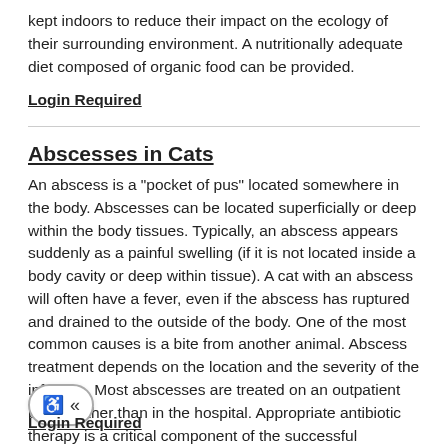kept indoors to reduce their impact on the ecology of their surrounding environment. A nutritionally adequate diet composed of organic food can be provided.
Login Required
Abscesses in Cats
An abscess is a "pocket of pus" located somewhere in the body. Abscesses can be located superficially or deep within the body tissues. Typically, an abscess appears suddenly as a painful swelling (if it is not located inside a body cavity or deep within tissue). A cat with an abscess will often have a fever, even if the abscess has ruptured and drained to the outside of the body. One of the most common causes is a bite from another animal. Abscess treatment depends on the location and the severity of the infection. Most abscesses are treated on an outpatient basis, rather than in the hospital. Appropriate antibiotic therapy is a critical component of the successful treatment of abscesses, no matter the location. It is also important to ensure adequate pain relief during treatment of an abscess. Delayed or inadequate treatment may lead to chronically draining tracts in the tissue or even to organ system compromise, so it is important to follow all treatment instructions from your
Login Required